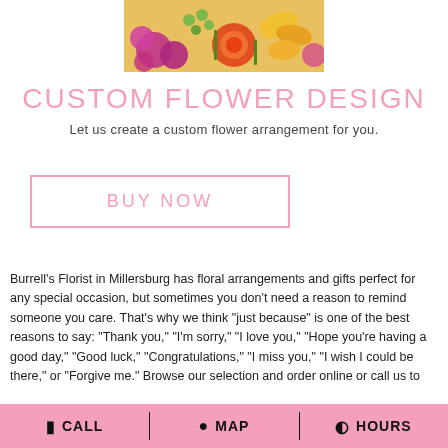[Figure (photo): Colorful flower arrangement with orange roses, yellow lilies, green berries, and purple chrysanthemums]
CUSTOM FLOWER DESIGN
Let us create a custom flower arrangement for you.
BUY NOW
Burrell's Florist in Millersburg has floral arrangements and gifts perfect for any special occasion, but sometimes you don't need a reason to remind someone you care. That's why we think "just because" is one of the best reasons to say: "Thank you," "I'm sorry," "I love you," "Hope you're having a good day," "Good luck," "Congratulations," "I miss you," "I wish I could be there," or "Forgive me." Browse our selection and order online or call us to
CALL   MAP   HOURS